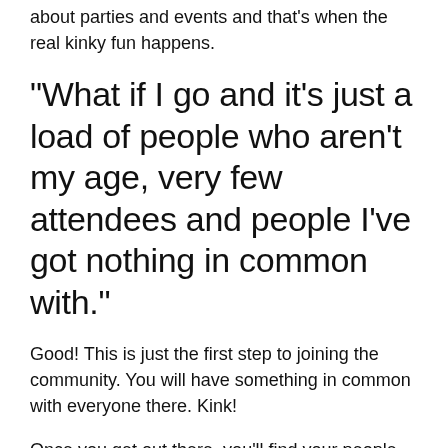about parties and events and that's when the real kinky fun happens.
“What if I go and it’s just a load of people who aren’t my age, very few attendees and people I’ve got nothing in common with.”
Good! This is just the first step to joining the community. You will have something in common with everyone there. Kink!
Once you get out there, you’ll find your people.